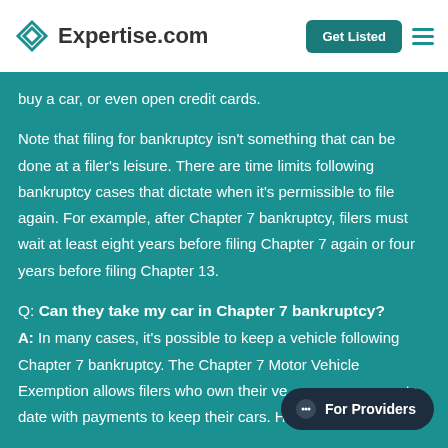Expertise.com
buy a car, or even open credit cards.
Note that filing for bankruptcy isn't something that can be done at a filer's leisure. There are time limits following bankruptcy cases that dictate when it's permissible to file again. For example, after Chapter 7 bankruptcy, filers must wait at least eight years before filing Chapter 7 again or four years before filing Chapter 13.
Q: Can they take my car in Chapter 7 bankruptcy?
A: In many cases, it's possible to keep a vehicle following Chapter 7 bankruptcy. The Chapter 7 Motor Vehicle Exemption allows filers who own their ve... are up to date with payments to keep their cars. However,